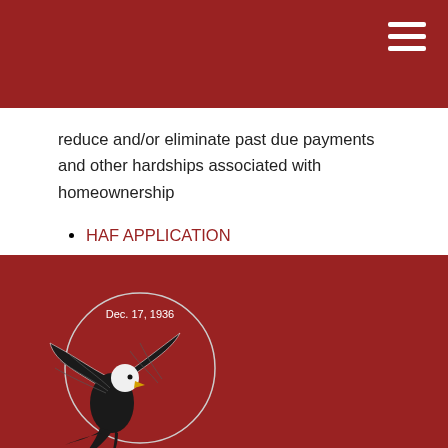reduce and/or eliminate past due payments and other hardships associated with homeownership
HAF APPLICATION
HAF General Guidelines
KBIC HAF Checklist
[Figure (logo): KBIC tribal seal with eagle, dated Dec. 17, 1936, on dark red background]